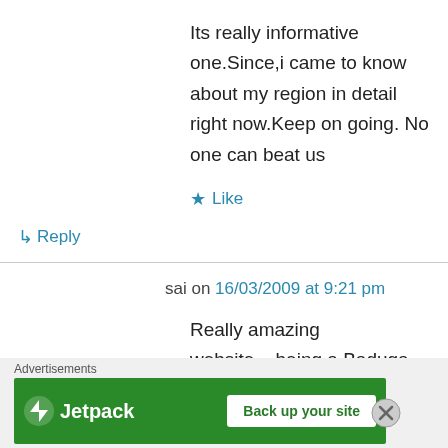Its really informative one.Since,i came to know about my region in detail right now.Keep on going. No one can beat us
★ Like
↪ Reply
sai on 16/03/2009 at 9:21 pm
Really amazing website....being a Baduga girl....I didnot know the history of our community....really I felt ashamed when my friends ask about our Baduga community....now
Advertisements
[Figure (other): Jetpack advertisement banner with 'Back up your site' button on green background]